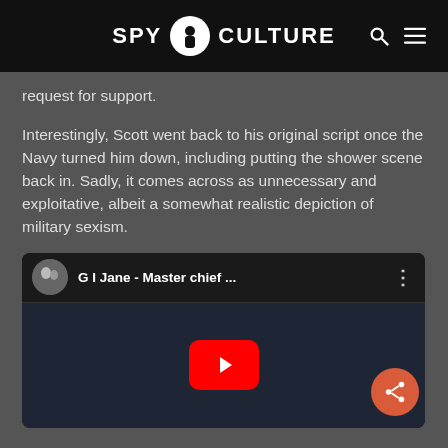SPY CULTURE
request for support.
Interestingly, Scott went back to his original script once the Navy turned him down, including putting the shower scene back in. Sadly, it comes across as unnecessary and exploitative, albeit a somewhat realistic depiction of military sexism.
[Figure (screenshot): YouTube video embed showing 'G I Jane - Master chief ...' with red play button and share button overlay]